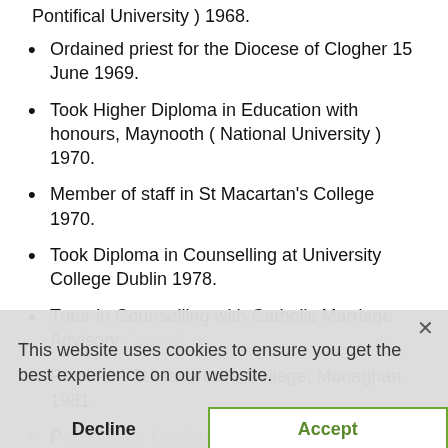Pontifical University ) 1968.
Ordained priest for the Diocese of Clogher 15 June 1969.
Took Higher Diploma in Education with honours, Maynooth ( National University ) 1970.
Member of staff in St Macartan's College 1970.
Took Diploma in Counselling at University College Dublin 1978.
Tutor in Counselling with Catholic Marriage Advisory Council.
President St Macartan's College, Monaghan 1981.
President of Conference of Confederation of Management of Catholic Secondary Schools).
Chairman, Council of Priests, Diocese of Clogher (1988 – 1996)
This website uses cookies to ensure you get the best experience on our website.